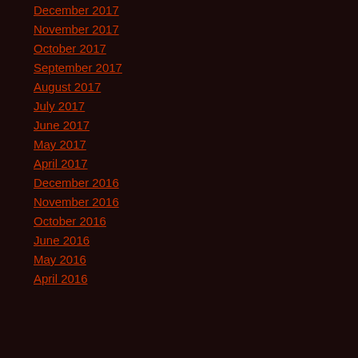December 2017
November 2017
October 2017
September 2017
August 2017
July 2017
June 2017
May 2017
April 2017
December 2016
November 2016
October 2016
June 2016
May 2016
April 2016